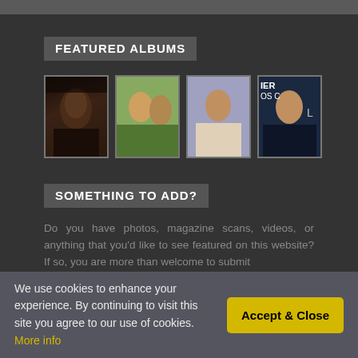FEATURED ALBUMS
[Figure (photo): Four thumbnail photos of people arranged in a horizontal row under 'Featured Albums' heading]
SOMETHING TO ADD?
Do you have photos, magazine scans, videos, or anything that you'd like to see featured on this website? If so, you are more than welcome to submit
We use cookies to enhance your experience. By continuing to visit this site you agree to our use of cookies. More info